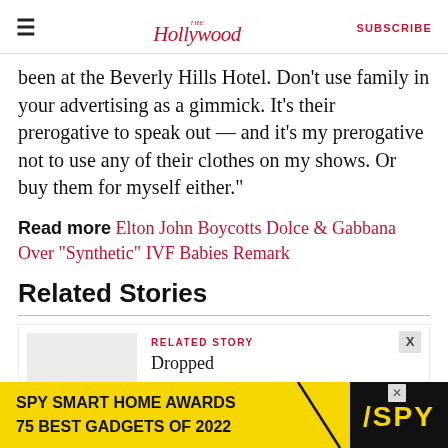The Hollywood Reporter | SUBSCRIBE
been at the Beverly Hills Hotel. Don’t use family in your advertising as a gimmick. It’s their prerogative to speak out — and it’s my prerogative not to use any of their clothes on my shows. Or buy them for myself either.”
Read more Elton John Boycotts Dolce & Gabbana Over “Synthetic” IVF Babies Remark
Related Stories
RELATED STORY
Dropped
[Figure (other): SPY Smart Home Awards 75 Best Gadgets of 2022 advertisement banner with yellow background and SPY logo]